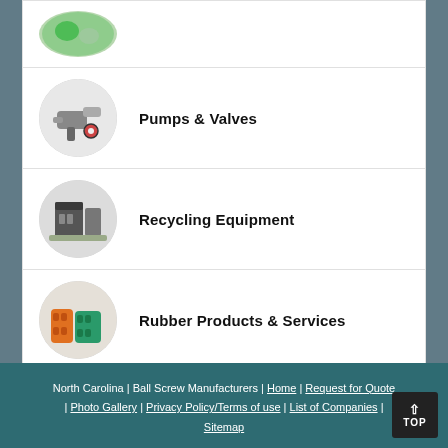Pumps & Valves
Recycling Equipment
Rubber Products & Services
North Carolina | Ball Screw Manufacturers | Home | Request for Quote | Photo Gallery | Privacy Policy/Terms of use | List of Companies | Sitemap